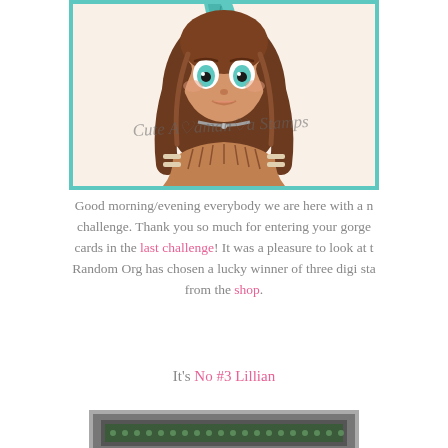[Figure (illustration): Illustration of a big-eyed girl with brown wavy hair, teal feather hair accessory, choker necklace, and boho/native-style clothing, with 'Cute Ala Amanda Stamps' watermark text across the image, framed by a teal border.]
Good morning/evening everybody we are here with a new challenge. Thank you so much for entering your gorgeous cards in the last challenge! It was a pleasure to look at them. Random Org has chosen a lucky winner of three digi stamps from the shop.
It's No #3 Lillian
[Figure (photo): Partial view of a card or craft project, showing a dark-bordered item at the bottom of the page, partially cut off.]